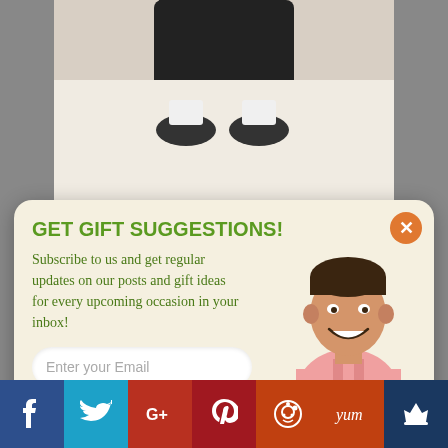[Figure (photo): Top of page showing legs/feet in black clothing on white surface, photo appears to be a blog page background]
GET GIFT SUGGESTIONS!
Subscribe to us and get regular updates on our posts and gift ideas for every upcoming occasion in your inbox!
Enter your Email
SUBSCRIBE NOW
NO THANKS
[Figure (photo): Portrait of smiling man in pink shirt]
Check Price
[Figure (logo): SUMO logo badge with crown icon]
Social share bar with Facebook, Twitter, Google+, Pinterest, Reddit, Yummly, and Sumo icons